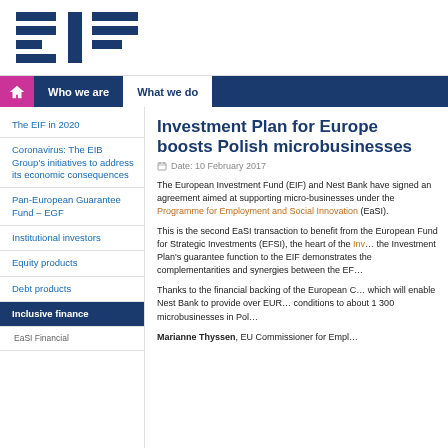[Figure (logo): EIF (European Investment Fund) logo — blue horizontal bar graphic with letters E I F]
Who we are | What we do
The EIF in 2020
Coronavirus: The EIB Group's initiatives to address its economic consequences
Pan-European Guarantee Fund – EGF
Institutional investors
Equity products
Debt products
Inclusive finance
EaSI Financial
Investment Plan for Europe boosts Polish microbusinesses
Date: 10 February 2017
The European Investment Fund (EIF) and Nest Bank have signed an agreement aimed at supporting micro-businesses under the Programme for Employment and Social Innovation (EaSI).
This is the second EaSI transaction to benefit from the European Fund for Strategic Investments (EFSI), the heart of the Investment Plan for Europe. the Investment Plan's guarantee function to the EIF demonstrates the complementarities and synergies between the EFSI...
Thanks to the financial backing of the European Commission through EaSI, which will enable Nest Bank to provide over EUR ... conditions to about 1 300 microbusinesses in Poland.
Marianne Thyssen, EU Commissioner for Employment...